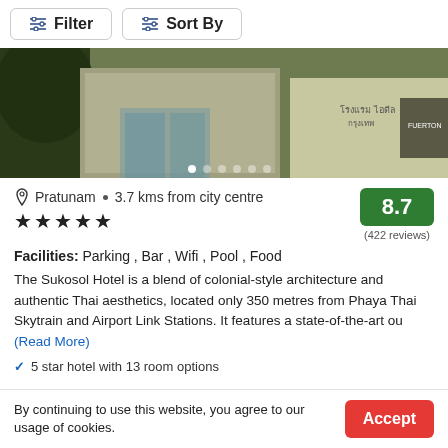[Figure (screenshot): Toolbar with Filter and Sort By buttons]
[Figure (photo): Hotel exterior photo showing building entrance with Thai text signage and greenery]
Pratunam • 3.7 kms from city centre
★★★★★
8.7
(422 reviews)
Facilities: Parking , Bar , Wifi , Pool , Food
The Sukosol Hotel is a blend of colonial-style architecture and authentic Thai aesthetics, located only 350 metres from Phaya Thai Skytrain and Airport Link Stations. It features a state-of-the-art ou (Read More)
✓ 5 star hotel with 13 room options
By continuing to use this website, you agree to our usage of cookies.